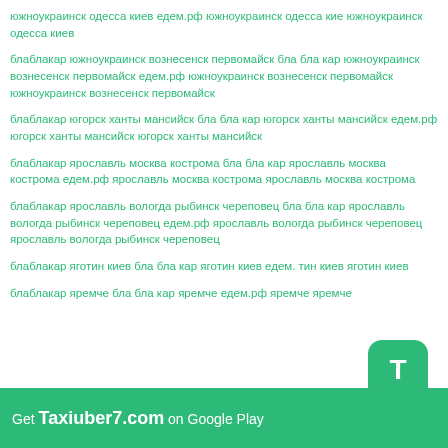южноукраинск одесса киев едем.рф южноукраинск одесса кие южноукраинск одесса киев
блаблакар южноукраинск вознесенск первомайск бла бла кар южноукраинск вознесенск первомайск едем.рф южноукраинск вознесенск первомайск южноукраинск вознесенск первомайск
блаблакар югорск ханты мансийск бла бла кар югорск ханты мансийск едем.рф югорск ханты мансийск югорск ханты мансийск
блаблакар ярославль москва кострома бла бла кар ярославль москва кострома едем.рф ярославль москва кострома ярославль москва кострома
блаблакар ярославль вологда рыбинск череповец бла бла кар ярославль вологда рыбинск череповец едем.рф ярославль вологда рыбинск череповец ярославль вологда рыбинск череповец
блаблакар яготин киев бла бла кар яготин киев едем. тин киев яготин киев
блаблакар яремче бла бла кар яремче едем.рф яремче яремче
Get Taxiuber7.com on Google Play